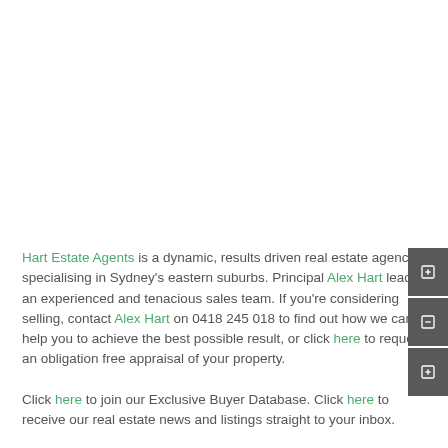Hart Estate Agents is a dynamic, results driven real estate agency specialising in Sydney's eastern suburbs. Principal Alex Hart leads an experienced and tenacious sales team. If you're considering selling, contact Alex Hart on 0418 245 018 to find out how we can help you to achieve the best possible result, or click here to request an obligation free appraisal of your property.
Click here to join our Exclusive Buyer Database. Click here to receive our real estate news and listings straight to your inbox.